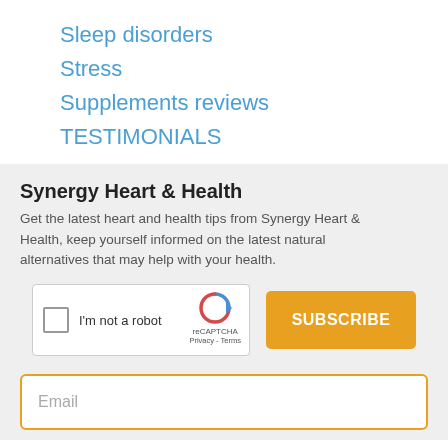Sleep disorders
Stress
Supplements reviews
TESTIMONIALS
Synergy Heart & Health
Get the latest heart and health tips from Synergy Heart & Health, keep yourself informed on the latest natural alternatives that may help with your health.
[Figure (other): reCAPTCHA widget with checkbox labeled 'I'm not a robot' and a Subscribe button in orange]
Email
No thanks, I'm not interested